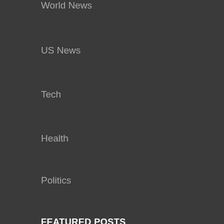World News
US News
Tech
Health
Politics
FEATURED POSTS
August 20, 2022 at 00:11
Contractors State License Center Is Offering Zoom Classes For Contractor License Applicants In LA
August 20, 2022 at 00:11